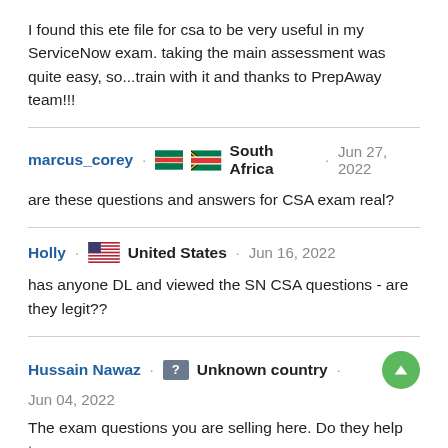I found this ete file for csa to be very useful in my ServiceNow exam. taking the main assessment was quite easy, so...train with it and thanks to PrepAway team!!!
marcus_corey · South Africa · Jun 27, 2022
are these questions and answers for CSA exam real?
Holly · United States · Jun 16, 2022
has anyone DL and viewed the SN CSA questions - are they legit??
Hussain Nawaz · Unknown country · Jun 04, 2022
The exam questions you are selling here. Do they help to pass